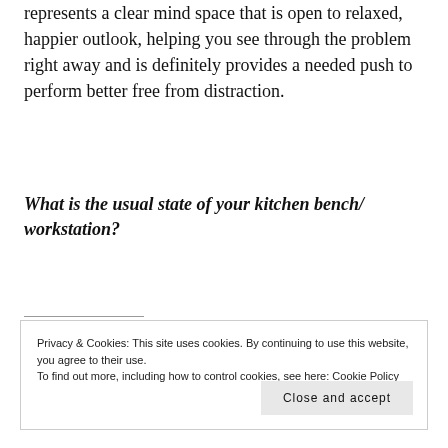represents a clear mind space that is open to relaxed, happier outlook, helping you see through the problem right away and is definitely provides a needed push to perform better free from distraction.
What is the usual state of your kitchen bench/ workstation?
Privacy & Cookies: This site uses cookies. By continuing to use this website, you agree to their use.
To find out more, including how to control cookies, see here: Cookie Policy